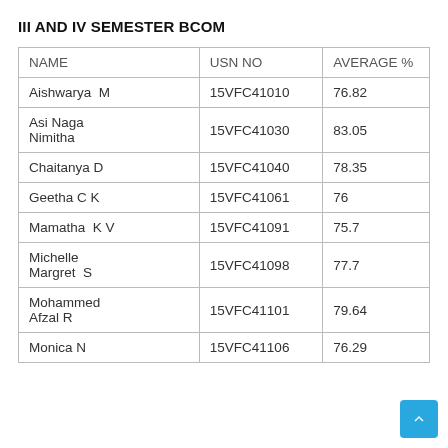III AND IV SEMESTER BCOM
| NAME | USN NO | AVERAGE % |
| --- | --- | --- |
| Aishwarya  M | 15VFC41010 | 76.82 |
| Asi Naga Nimitha | 15VFC41030 | 83.05 |
| Chaitanya D | 15VFC41040 | 78.35 |
| Geetha C K | 15VFC41061 | 76 |
| Mamatha  K V | 15VFC41091 | 75.7 |
| Michelle Margret  S | 15VFC41098 | 77.7 |
| Mohammed Afzal R | 15VFC41101 | 79.64 |
| Monica N | 15VFC41106 | 76.29 |